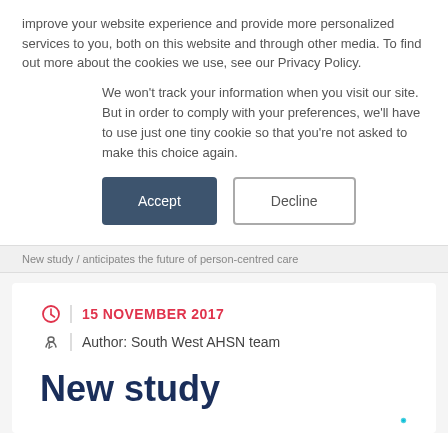improve your website experience and provide more personalized services to you, both on this website and through other media. To find out more about the cookies we use, see our Privacy Policy.
We won't track your information when you visit our site. But in order to comply with your preferences, we'll have to use just one tiny cookie so that you're not asked to make this choice again.
Accept
Decline
New study / anticipates the future of person-centred care
15 NOVEMBER 2017
Author: South West AHSN team
New study